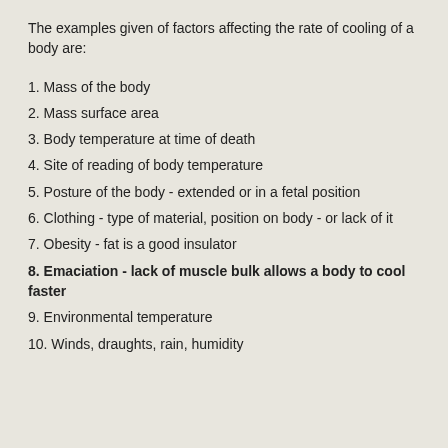The examples given of factors affecting the rate of cooling of a body are:
1. Mass of the body
2. Mass surface area
3. Body temperature at time of death
4. Site of reading of body temperature
5. Posture of the body - extended or in a fetal position
6. Clothing - type of material, position on body - or lack of it
7. Obesity - fat is a good insulator
8. Emaciation - lack of muscle bulk allows a body to cool faster
9. Environmental temperature
10. Winds, draughts, rain, humidity